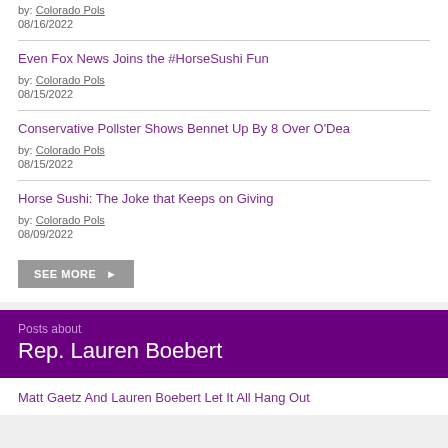by: Colorado Pols
08/16/2022
Even Fox News Joins the #HorseSushi Fun
by: Colorado Pols
08/15/2022
Conservative Pollster Shows Bennet Up By 8 Over O'Dea
by: Colorado Pols
08/15/2022
Horse Sushi: The Joke that Keeps on Giving
by: Colorado Pols
08/09/2022
SEE MORE ▶
Posts about
Rep. Lauren Boebert
Matt Gaetz And Lauren Boebert Let It All Hang Out